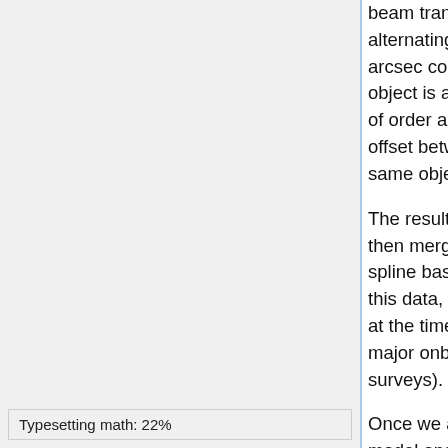beam translate into this systematic alternating pattern. We thus allow for a small, arcsec correction of those offsets: i.e., each object is allowed a single offset displacement of order arc seconds in order to minimize the offset between different observations of the same object at different time.
The resulting list of point source offsets is then merged with the planet offsets. Again a spline based correction is built fitting all of this data, and allowing rupture of continuity at the time of the SCS switchover and other major onboard event (typically between each surveys).
Once we assume the full Planck pointing model and re-measure the position of Mars for this observation, we see sub-arcsecond deviations (as expected): this
Typesetting math: 22%